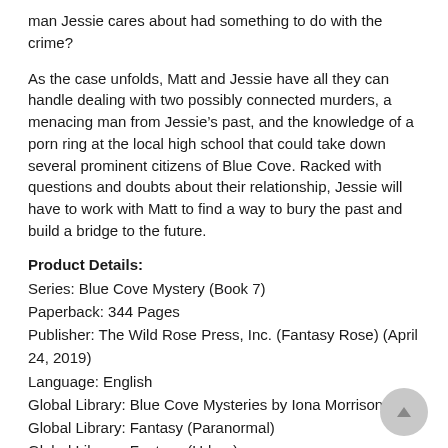man Jessie cares about had something to do with the crime?
As the case unfolds, Matt and Jessie have all they can handle dealing with two possibly connected murders, a menacing man from Jessie’s past, and the knowledge of a porn ring at the local high school that could take down several prominent citizens of Blue Cove. Racked with questions and doubts about their relationship, Jessie will have to work with Matt to find a way to bury the past and build a bridge to the future.
Product Details:
Series: Blue Cove Mystery (Book 7)
Paperback: 344 Pages
Publisher: The Wild Rose Press, Inc. (Fantasy Rose) (April 24, 2019)
Language: English
Global Library: Blue Cove Mysteries by Iona Morrison
Global Library: Fantasy (Paranormal)
Global Library: Fantasy (Urban)
Global Library: Fiction (Ghost)
Global Library: Mystery (General)
Global Library: Paranormal (Supernatural)